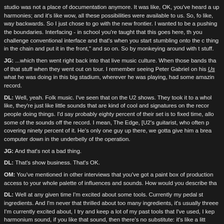studio was not a place of documentation anymore. It was like, OK, you've heard all these layered up harmonies; and it's like wow, all these possibilities were available to us. So, for most people it's like, way backwards. So I just chose to go with the new frontier. I wanted to be a pioneer in pushing the boundaries. Interfacing - in school you're taught that this goes here, that goes there, you challenge conventional interface and that's when you start stumbling onto the cool stuff - take a thing in the chain and put it in the front," and so on. So by monkeying around with the expensive stuff.
JG: ...which then went right back into that live music culture. When those bands that were doing a lot of that stuff when they went out on tour. I remember seeing Peter Gabriel on his Us tour, and what he was doing in this big stadium, wherever he was playing, had some amazing stuff on the record.
DL: Well, yeah. Folk music. I've seen that on the U2 shows. They took it to a whole new level, like, they're just like little sounds that are kind of cool and signatures on the record versus having people doing things. I'd say probably eighty percent of their set is to fixed time, allowing them to play some of the sounds off the record. I mean, The Edge, [U2's guitarist, who often performs solo], is covering ninety percent of it. He's only one guy up there, we gotta give him a break, he's got a computer down in the underbelly of the operation.
JG: And that's not a bad thing.
DL: That's show business. That's OK.
OM: You've mentioned in other interviews that you've got a paint box of production tools that gives access to your whole palette of influences and sounds. How would you describe tha
DL: Well at any given time I'm excited about some tools. Currently my pedal st ingredients. And I'm never that thrilled about too many ingredients, it's usually thre I'm currently excited about, I try and keep a lot of my past tools that I've used, I ke harmonium sound, if you like that sound, then there's no substitute: it's like a lit fashion. And if you want that sound, then you have to have it, or else you gotta re to hang onto the tools that have served me well, and just say, "OK, that's for th